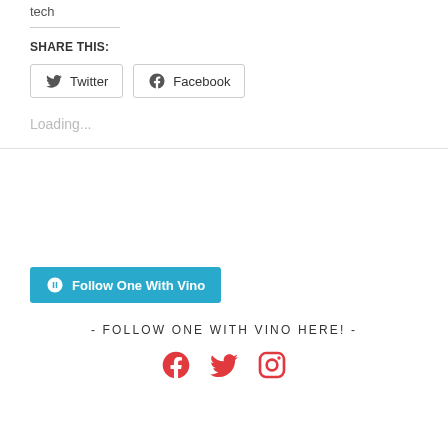tech
SHARE THIS:
[Figure (other): Twitter and Facebook share buttons]
Loading...
[Figure (other): Follow One With Vino WordPress follow button]
- FOLLOW ONE WITH VINO HERE! -
[Figure (other): Social media icons: Facebook, Twitter, Instagram in red]